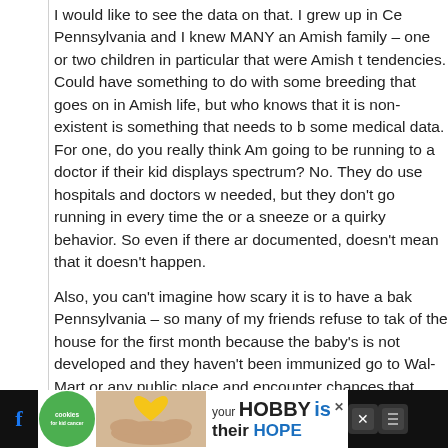I would like to see the data on that. I grew up in Ce Pennsylvania and I knew MANY an Amish family – one or two children in particular that were Amish t tendencies. Could have something to do with some breeding that goes on in Amish life, but who knows that it is non-existent is something that needs to b some medical data. For one, do you really think Am going to be running to a doctor if their kid displays spectrum? No. They do use hospitals and doctors w needed, but they don't go running in every time the or a sneeze or a quirky behavior. So even if there ar documented, doesn't mean that it doesn't happen.
Also, you can't imagine how scary it is to have a bak Pennsylvania – so many of my friends refuse to tak of the house for the first month because the baby's is not developed and they haven't been immunized go to Wal-Mart or any public place and encounter chances that your baby will contract a disease are h
[Figure (screenshot): Advertisement banner at bottom: cookies for kid cancer logo on green circle, image of hands holding a yellow heart, text 'your HOBBY is their HOPE' with close button, flanked by social media icons on black background]